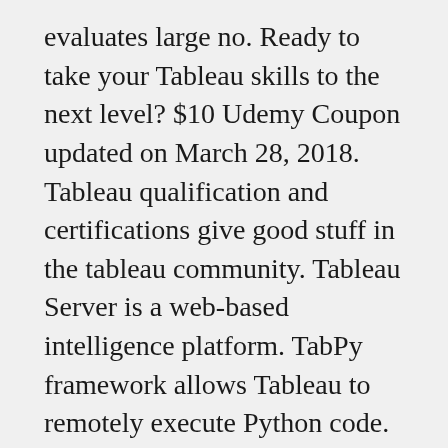evaluates large no. Ready to take your Tableau skills to the next level? $10 Udemy Coupon updated on March 28, 2018. Tableau qualification and certifications give good stuff in the tableau community. Tableau Server is a web-based intelligence platform. TabPy framework allows Tableau to remotely execute Python code. Building and testing models in R, Python, or other coding languages, perform simulations, and tune models for enterprise production. In this unit, you will get an overview of what this tool is all about and how it helps in business intelligence. There are various kinds of charts that make an end-user read data in an understandable form. The five major tools of the tableau are tableau desktop